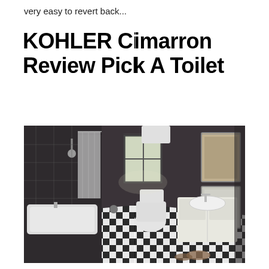very easy to revert back...
KOHLER Cimarron Review Pick A Toilet
[Figure (photo): Dark-walled bathroom interior with checkered black-and-white floor, bathtub with shower curtain on left, KOHLER Cimarron toilet in center, white vanity sink on right, window in background letting in light, framed artwork on right wall.]